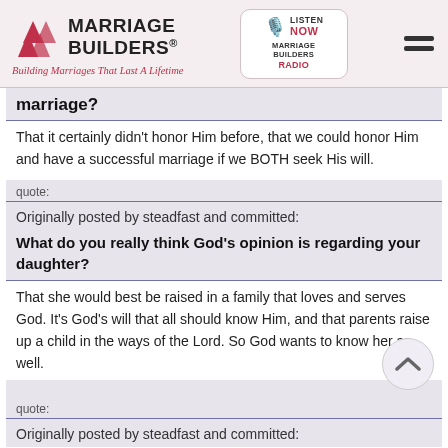[Figure (logo): Marriage Builders logo with triangular arrow icons and tagline 'Building Marriages That Last A Lifetime']
[Figure (logo): Listen Now Marriage Builders Radio badge]
marriage?
That it certainly didn't honor Him before, that we could honor Him and have a successful marriage if we BOTH seek His will.
quote:
Originally posted by steadfast and committed:
What do you really think God's opinion is regarding your daughter?
That she would best be raised in a family that loves and serves God. It's God's will that all should know Him, and that parents raise up a child in the ways of the Lord. So God wants to know her as well.
quote:
Originally posted by steadfast and committed: